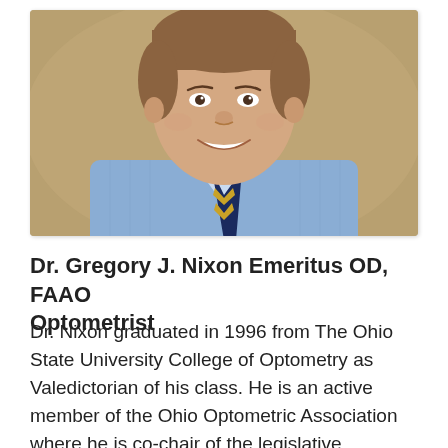[Figure (photo): Professional headshot of Dr. Gregory J. Nixon, a middle-aged man smiling, wearing a light blue striped dress shirt and a navy/gold striped tie, photographed against a warm brown/tan background.]
Dr. Gregory J. Nixon Emeritus OD, FAAO Optometrist
Dr. Nixon graduated in 1996 from The Ohio State University College of Optometry as Valedictorian of his class. He is an active member of the Ohio Optometric Association where he is co-chair of the legislative committee and member of the EastWest Eye Conference Education committee. His work on behalf of...